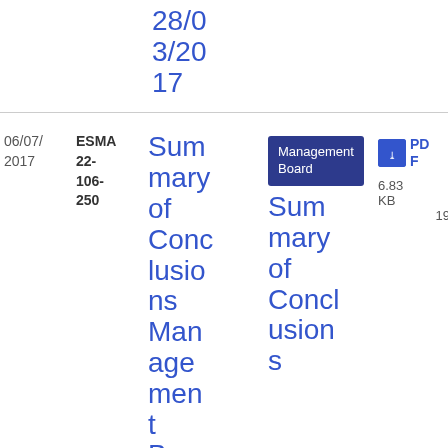| Date | Reference | Title | Committee/Body | Description | File |
| --- | --- | --- | --- | --- | --- |
| 28/03/2017 |  |  |  |  |  |
| 06/07/2017 | ESMA 22-106-250 | Summary of Conclusions Management Board meeting 22 May 2017 | Management Board | Summary of Conclusions | PDF 6.83 KB 19 |